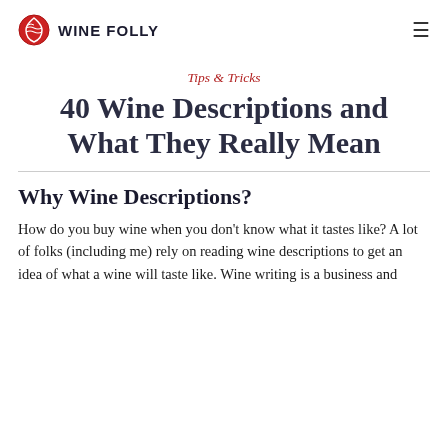WINE FOLLY
Tips & Tricks
40 Wine Descriptions and What They Really Mean
Why Wine Descriptions?
How do you buy wine when you don't know what it tastes like? A lot of folks (including me) rely on reading wine descriptions to get an idea of what a wine will taste like. Wine writing is a business and